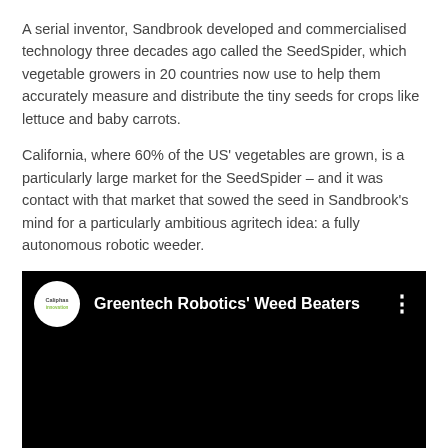A serial inventor, Sandbrook developed and commercialised technology three decades ago called the SeedSpider, which vegetable growers in 20 countries now use to help them accurately measure and distribute the tiny seeds for crops like lettuce and baby carrots.
California, where 60% of the US' vegetables are grown, is a particularly large market for the SeedSpider – and it was contact with that market that sowed the seed in Sandbrook's mind for a particularly ambitious agritech idea: a fully autonomous robotic weeder.
[Figure (screenshot): Embedded video player with black background showing 'Greentech Robotics' Weed Beaters' title with a circular channel logo on the left and a three-dot menu icon on the right.]